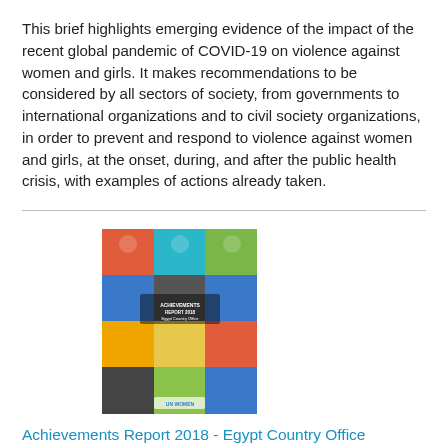This brief highlights emerging evidence of the impact of the recent global pandemic of COVID-19 on violence against women and girls. It makes recommendations to be considered by all sectors of society, from governments to international organizations and to civil society organizations, in order to prevent and respond to violence against women and girls, at the onset, during, and after the public health crisis, with examples of actions already taken.
[Figure (photo): Cover image of the Achievements Report 2018 - Egypt Country Office publication, showing a colorful grid of photographic images of people and SDG-related icons on the cover.]
Achievements Report 2018 - Egypt Country Office
Date: Thursday, 8 August 2019
UN Women Achievements Report gives a comprehensive overview on the main programmes implemented by UN Women Egypt during 2018 in collaboration with its various partners across the four impact areas: Women's Political Empowerment (WPE), Women's Economic Empowerment, Ending Violence against Women (EVAW) and Engaging Men and Boys in Gender Equality. It also features the